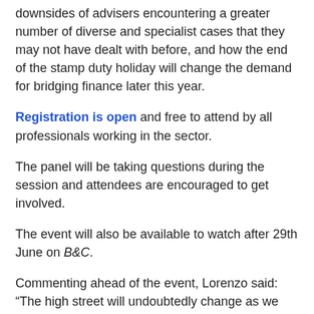downsides of advisers encountering a greater number of diverse and specialist cases that they may not have dealt with before, and how the end of the stamp duty holiday will change the demand for bridging finance later this year.
Registration is open and free to attend by all professionals working in the sector.
The panel will be taking questions during the session and attendees are encouraged to get involved.
The event will also be available to watch after 29th June on B&C.
Commenting ahead of the event, Lorenzo said: “The high street will undoubtedly change as we emerge from Covid lockdown; we’ve already seen some major retailers including well known department stores disappear, and I believe we will see fewer acquisitions of traditional shops, with more leisure spaces and mixed-use developments, such as cafes